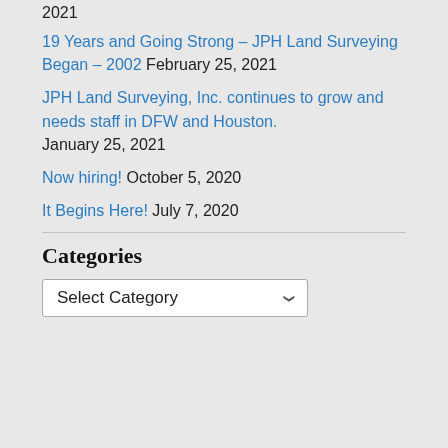2021
19 Years and Going Strong – JPH Land Surveying Began – 2002 February 25, 2021
JPH Land Surveying, Inc. continues to grow and needs staff in DFW and Houston. January 25, 2021
Now hiring! October 5, 2020
It Begins Here! July 7, 2020
Categories
Select Category